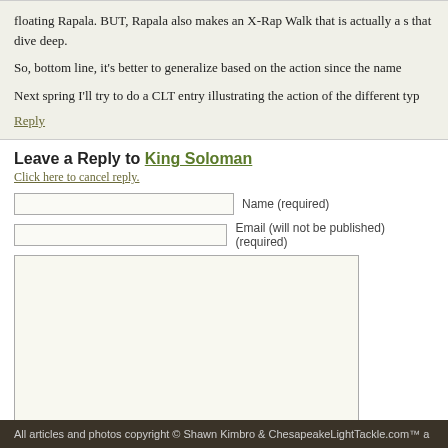floating Rapala. BUT, Rapala also makes an X-Rap Walk that is actually a s that dive deep.
So, bottom line, it's better to generalize based on the action since the name
Next spring I'll try to do a CLT entry illustrating the action of the different typ
Reply
Leave a Reply to King Soloman
Click here to cancel reply.
Name (required)
Email (will not be published) (required)
Submit Comment
All articles and photos copyright © Shawn Kimbro & ChesapeakeLightTackle.com™ a